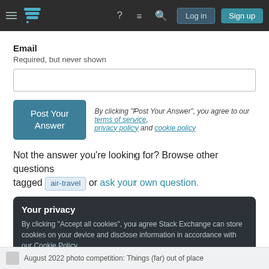Stack Exchange navigation bar with hamburger menu, logo, help icon, chat icon, search icon, Log in and Sign up buttons
Email
Required, but never shown
[email input field]
By clicking "Post Your Answer", you agree to our terms of service, privacy policy and cookie policy
Not the answer you're looking for? Browse other questions tagged air-travel or ask your own question.
Your privacy
By clicking "Accept all cookies", you agree Stack Exchange can store cookies on your device and disclose information in accordance with our Cookie Policy.
Accept all cookies    Customize settings
August 2022 photo competition: Things (far) out of place